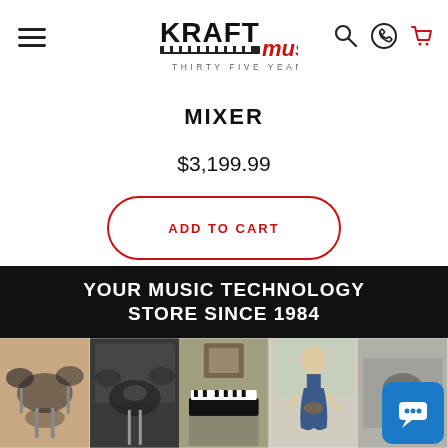KRAFT music THIRTY FIVE YEARS
MIXER
$3,199.99
ADD TO CART
YOUR MUSIC TECHNOLOGY STORE SINCE 1984
[Figure (photo): Grid of five product/lifestyle photos showing drum kits, piano, and musician with guitar]
[Figure (screenshot): Blue chat bubble icon with speech bubble and dots]